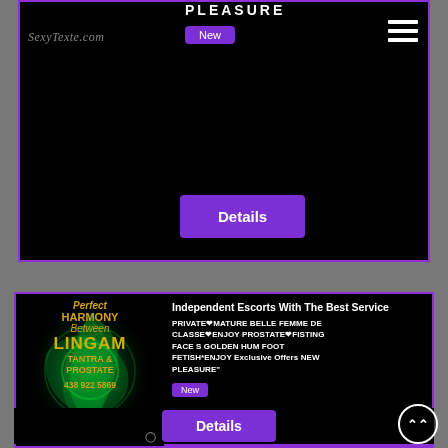[Figure (screenshot): Top partial card with logo, PLEASURE title, New badge, hamburger menu, and Details button on black background with purple border]
[Figure (screenshot): Bottom card for escort listing: green swirl logo with Perfect HARMONY Between LINGAM TANTRA & PROSTATE 438 922 5869, with ad text: Independent Escorts With The Best Service, PRIVATE MATURE BELLE FEMME DE CLASSE ENJOY PROSTATE FISTING FACE S GOLDEN HUM FOOT FETISH*ENJOY Exclusive Offers NEW PLEASURE, New badge, Details button]